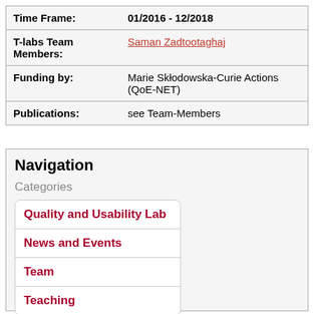| Field | Value |
| --- | --- |
| Time Frame: | 01/2016 - 12/2018 |
| T-labs Team Members: | Saman Zadtootaghaj |
| Funding by: | Marie Skłodowska-Curie Actions (QoE-NET) |
| Publications: | see Team-Members |
Navigation
Categories
Quality and Usability Lab
News and Events
Team
Teaching